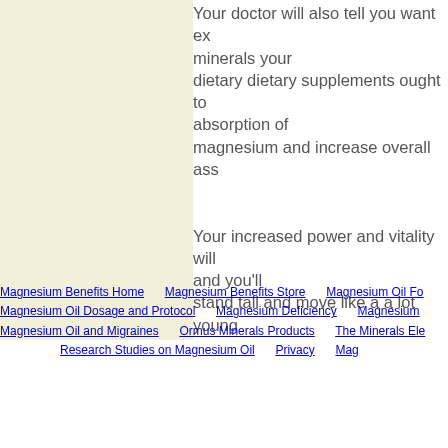Your doctor will also tell you want extra minerals your dietary dietary supplements ought to absorption of magnesium and increase overall ass
Your increased power and vitality will and you'll stand tall and move like a a lot young
Magnesium Benefits Home | Magnesium Benefits Store | Magnesium Oil Fo... | Magnesium Oil Dosage and Protocol | Magnesium Deficiency | Magnesium ... | Magnesium Oil and Migraines | Ormus Minerals Products | The Minerals Ele... | Research Studies on Magnesium Oil | Privacy | Mag...